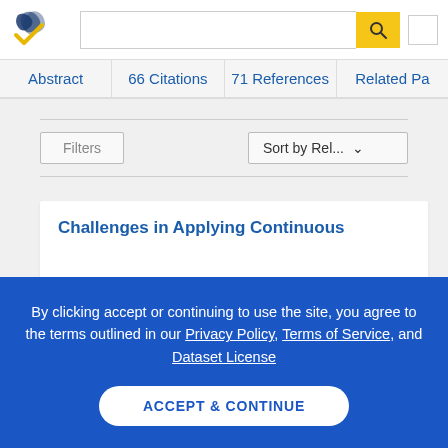Semantic Scholar — Search interface header with logo, search box, and navigation tabs: Abstract, 66 Citations, 71 References, Related Pa...
Filters | Sort by Rel...
Challenges in Applying Continuous
By clicking accept or continuing to use the site, you agree to the terms outlined in our Privacy Policy, Terms of Service, and Dataset License
ACCEPT & CONTINUE